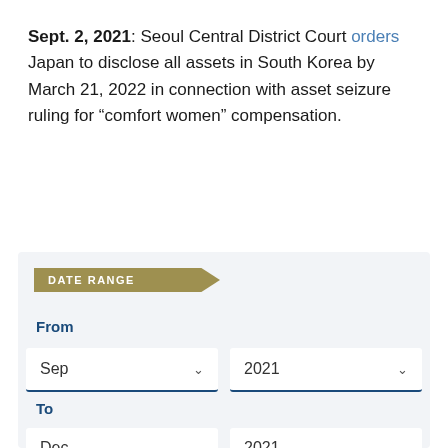Sept. 2, 2021: Seoul Central District Court orders Japan to disclose all assets in South Korea by March 21, 2022 in connection with asset seizure ruling for “comfort women” compensation.
DATE RANGE
From
Sep  ∨  2021  ∨
To
Dec  ∨  2021  ∨